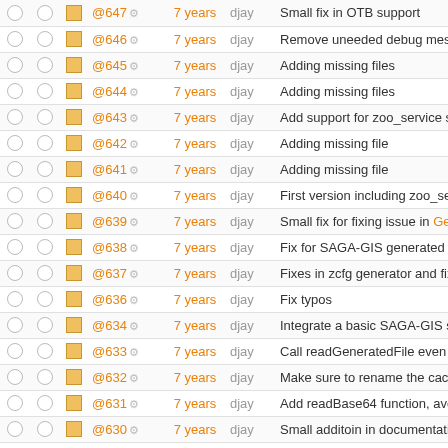|  |  |  | Rev | Age | Author | Message |
| --- | --- | --- | --- | --- | --- | --- |
| ○ | ○ | ■ | @647 | 7 years | djay | Small fix in OTB support |
| ○ | ○ | ■ | @646 | 7 years | djay | Remove uneeded debug mess |
| ○ | ○ | ■ | @645 | 7 years | djay | Adding missing files |
| ○ | ○ | ■ | @644 | 7 years | djay | Adding missing files |
| ○ | ○ | ■ | @643 | 7 years | djay | Add support for zoo_service sh |
| ○ | ○ | ■ | @642 | 7 years | djay | Adding missing file |
| ○ | ○ | ■ | @641 | 7 years | djay | Adding missing file |
| ○ | ○ | ■ | @640 | 7 years | djay | First version including zoo_ser |
| ○ | ○ | ■ | @639 | 7 years | djay | Small fix for fixing issue in Ge |
| ○ | ○ | ■ | @638 | 7 years | djay | Fix for SAGA-GIS generated Z |
| ○ | ○ | ■ | @637 | 7 years | djay | Fixes in zcfg generator and fixe |
| ○ | ○ | ■ | @636 | 7 years | djay | Fix typos |
| ○ | ○ | ■ | @634 | 7 years | djay | Integrate a basic SAGA-GIS su |
| ○ | ○ | ■ | @633 | 7 years | djay | Call readGeneratedFile even if |
| ○ | ○ | ■ | @632 | 7 years | djay | Make sure to rename the cache |
| ○ | ○ | ■ | @631 | 7 years | djay | Add readBase64 function, avoi |
| ○ | ○ | ■ | @630 | 7 years | djay | Small additoin in documentatio |